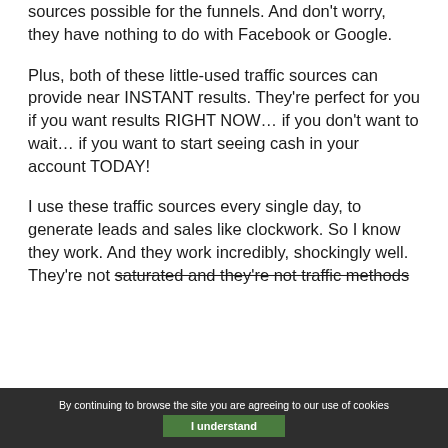That's why I've included 2 of the best traffic sources possible for the funnels. And don't worry, they have nothing to do with Facebook or Google.
Plus, both of these little-used traffic sources can provide near INSTANT results. They're perfect for you if you want results RIGHT NOW… if you don't want to wait… if you want to start seeing cash in your account TODAY!
I use these traffic sources every single day, to generate leads and sales like clockwork. So I know they work. And they work incredibly, shockingly well. They're not saturated and they're not traffic methods...
By continuing to browse the site you are agreeing to our use of cookies